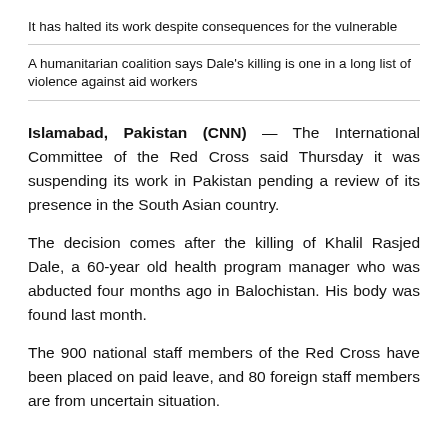It has halted its work despite consequences for the vulnerable
A humanitarian coalition says Dale's killing is one in a long list of violence against aid workers
Islamabad, Pakistan (CNN) — The International Committee of the Red Cross said Thursday it was suspending its work in Pakistan pending a review of its presence in the South Asian country.
The decision comes after the killing of Khalil Rasjed Dale, a 60-year old health program manager who was abducted four months ago in Balochistan. His body was found last month.
The 900 national staff members of the Red Cross have been placed on paid leave, and 80 foreign staff members are from uncertain situation.